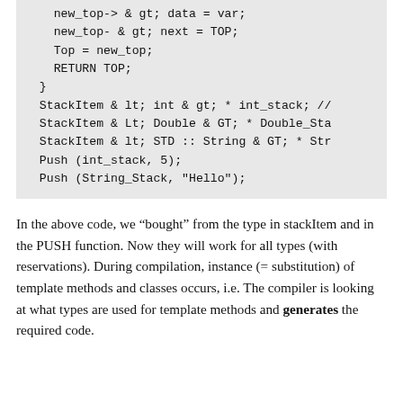[Figure (other): Code block showing C++ template stack code: new_top->data = var; new_top->next = TOP; Top = new_top; RETURN TOP; } StackItem <int> * int_stack; // StackItem <Double> * Double_Stack; StackItem <STD::String> * String_Stack; Push(int_stack, 5); Push(String_Stack, "Hello");]
In the above code, we "bought" from the type in stackItem and in the PUSH function. Now they will work for all types (with reservations). During compilation, instance (= substitution) of template methods and classes occurs, i.e. The compiler is looking at what types are used for template methods and generates the required code.